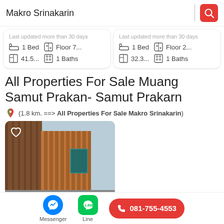Makro Srinakarin
Last updated more than 30 days | 1 Bed | Floor 7... | 41.5... | 1 Baths
Last updated more than 30 days | 1 Bed | Floor 2... | 32.3... | 1 Baths
All Properties For Sale Muang Samut Prakan- Samut Prakarn
(1.8 km. ==> All Properties For Sale Makro Srinakarin)
[Figure (photo): Exterior photo of a modern building with wood-panel and teal accent facade, with a heart/favorite icon overlay]
Messenger | Line | 081-755-4553